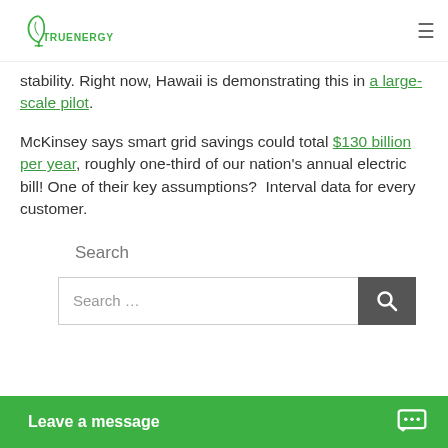TrueNercy logo and navigation menu
stability. Right now, Hawaii is demonstrating this in a large-scale pilot.
McKinsey says smart grid savings could total $130 billion per year, roughly one-third of our nation's annual electric bill! One of their key assumptions?  Interval data for every customer.
Search
Search ...
Leave a message